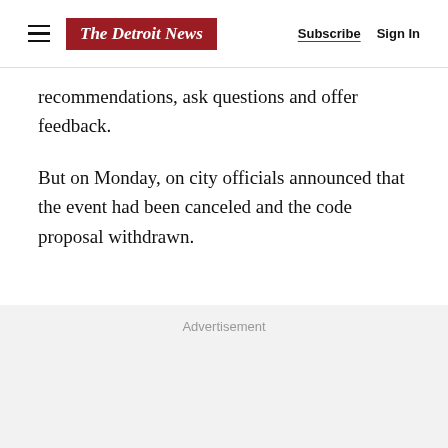The Detroit News | Subscribe | Sign In
recommendations, ask questions and offer feedback.
But on Monday, on city officials announced that the event had been canceled and the code proposal withdrawn.
Advertisement